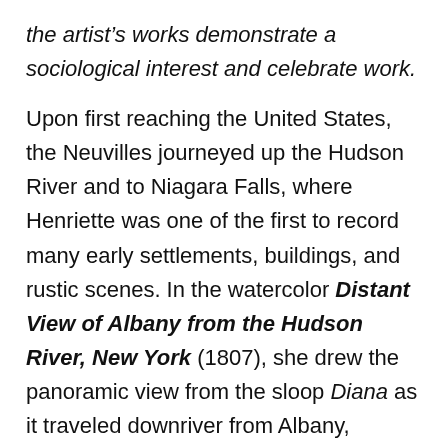the artist's works demonstrate a sociological interest and celebrate work.
Upon first reaching the United States, the Neuvilles journeyed up the Hudson River and to Niagara Falls, where Henriette was one of the first to record many early settlements, buildings, and rustic scenes. In the watercolor Distant View of Albany from the Hudson River, New York (1807), she drew the panoramic view from the sloop Diana as it traveled downriver from Albany, chronicling the river long before artist William Guy Wall's renowned Hudson River Portfolio (1820–25). The atmospheric vista conveys the majestic sweep of the Hudson and the reflections on its surface. In Break's Bridge, Palatine, New York (1808), Neuville, who was intrigued by engineering and technology, depicts a newly constructed Mohawk River bridge, but our view is cut short here. The